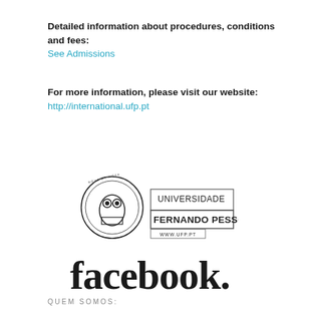Detailed information about procedures, conditions and fees:
See Admissions
For more information, please visit our website:
http://international.ufp.pt
[Figure (logo): Universidade Fernando Pessoa logo with owl emblem and text UNIVERSIDADE FERNANDO PESSOA WWW.UFP.PT]
[Figure (logo): Facebook wordmark logo with registered trademark symbol]
QUEM SOMOS:
[Figure (photo): Strip of four black and white portrait photos of people]